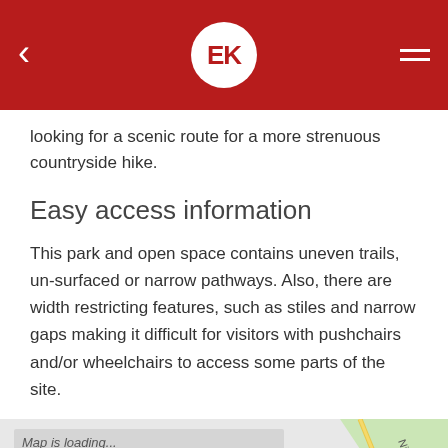EK (app header with back arrow and hamburger menu)
looking for a scenic route for a more strenuous countryside hike.
Easy access information
This park and open space contains uneven trails, un-surfaced or narrow pathways. Also, there are width restricting features, such as stiles and narrow gaps making it difficult for visitors with pushchairs and/or wheelchairs to access some parts of the site.
[Figure (map): Map loading screen showing partial street map with roads labeled including Northgate and Nightingale, green areas visible, a dark blue location marker icon at the bottom center, and a 'Map is loading...' overlay bar at the top left.]